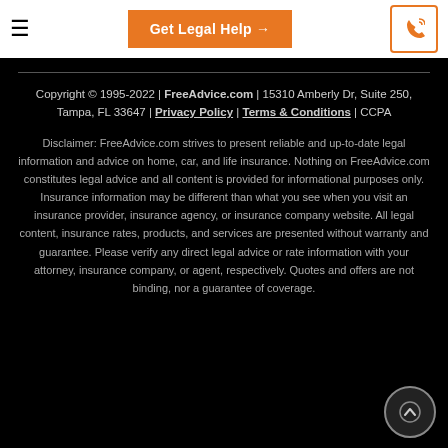Get Legal Help →
Copyright © 1995-2022 | FreeAdvice.com | 15310 Amberly Dr, Suite 250, Tampa, FL 33647 | Privacy Policy | Terms & Conditions | CCPA
Disclaimer: FreeAdvice.com strives to present reliable and up-to-date legal information and advice on home, car, and life insurance. Nothing on FreeAdvice.com constitutes legal advice and all content is provided for informational purposes only. Insurance information may be different than what you see when you visit an insurance provider, insurance agency, or insurance company website. All legal content, insurance rates, products, and services are presented without warranty and guarantee. Please verify any direct legal advice or rate information with your attorney, insurance company, or agent, respectively. Quotes and offers are not binding, nor a guarantee of coverage.